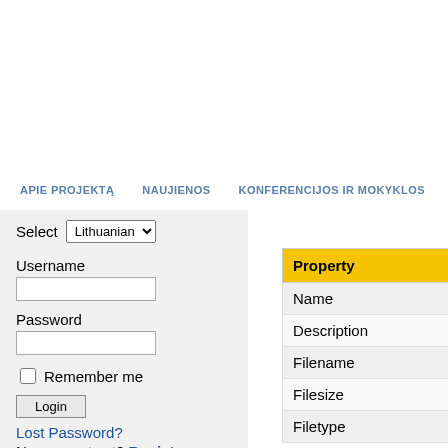APIE PROJEKTĄ   NAUJIENOS   KONFERENCIJOS IR MOKYKLOS
Select Lithuanian
Username
Password
Remember me
Login
Lost Password?
No account yet? Register
| Property |
| --- |
| Name |
| Description |
| Filename |
| Filesize |
| Filetype |